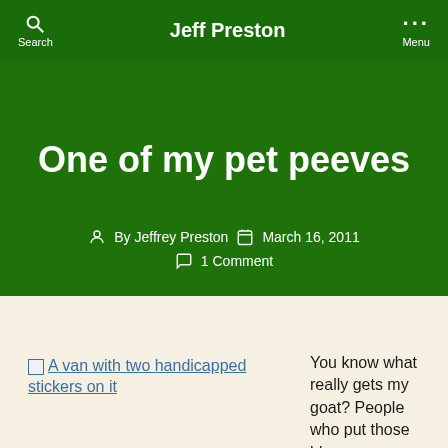Search   Jeff Preston   Menu
One of my pet peeves
By Jeffrey Preston   March 16, 2011   1 Comment
[Figure (other): Broken image link labeled: A van with two handicapped stickers on it]
You know what really gets my goat? People who put those blue handicapped/wheelcha